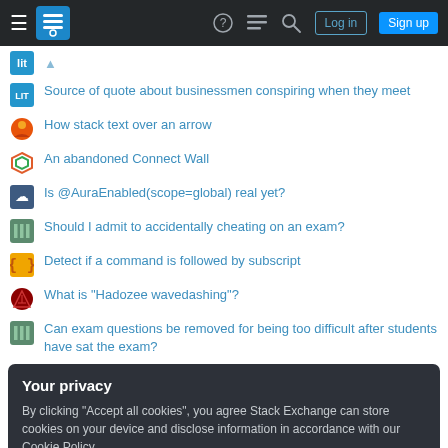Stack Exchange navigation bar with hamburger menu, logo, help, chat, search icons, Log in and Sign up buttons
Source of quote about businessmen conspiring when they meet
How stack text over an arrow
An abandoned Connect Wall
Is @AuraEnabled(scope=global) real yet?
Should I admit to accidentally cheating on an exam?
Detect if a command is followed by subscript
What is "Hadozee wavedashing"?
Can exam questions be removed for being too difficult after students have sat the exam?
Your privacy
By clicking "Accept all cookies", you agree Stack Exchange can store cookies on your device and disclose information in accordance with our Cookie Policy.
Accept all cookies  Customize settings
What is the purpose of not having jury trials for juveniles?